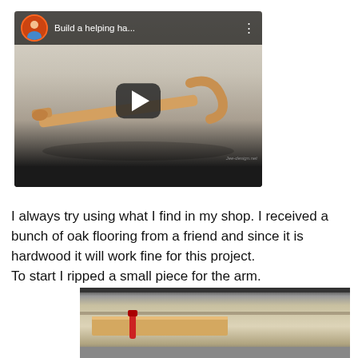[Figure (screenshot): YouTube video thumbnail showing a wooden helping hand tool. Title reads 'Build a helping ha...' with a play button in the center. Channel avatar visible in top left corner.]
I always try using what I find in my shop. I received a bunch of oak flooring from a friend and since it is hardwood it will work fine for this project.
To start I ripped a small piece for the arm.
[Figure (photo): Photo showing a small piece of wood being ripped on a workbench or saw, with a red brush visible nearby.]